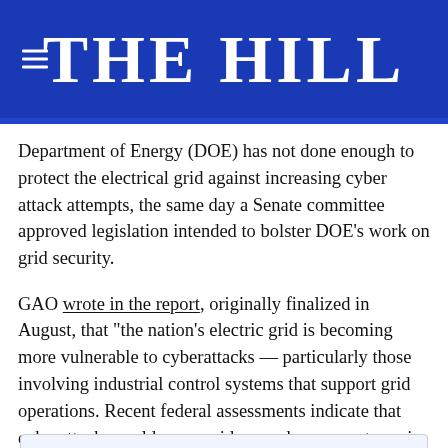THE HILL
Department of Energy (DOE) has not done enough to protect the electrical grid against increasing cyber attack attempts, the same day a Senate committee approved legislation intended to bolster DOE’s work on grid security.
GAO wrote in the report, originally finalized in August, that “the nation’s electric grid is becoming more vulnerable to cyberattacks — particularly those involving industrial control systems that support grid operations. Recent federal assessments indicate that cyberattacks could cause widespread power outages in the United States, but the scale of such outages is uncertain.
{mosads}GAO emphasized that DOE ‘plays a key role